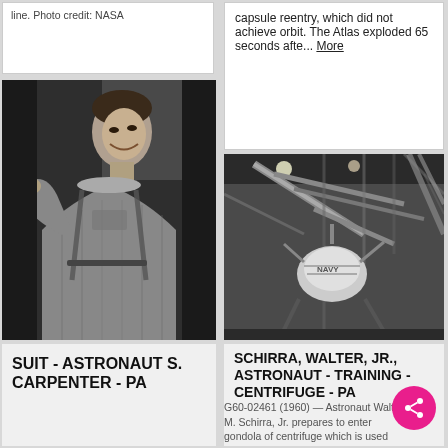line. Photo credit: NASA
capsule reentry, which did not achieve orbit. The Atlas exploded 65 seconds afte... More
[Figure (photo): Black and white photo of astronaut S. Carpenter in a spacesuit, smiling]
[Figure (photo): Black and white photo of a centrifuge training device, taken from above at an angle]
SUIT - ASTRONAUT S. CARPENTER - PA
SCHIRRA, WALTER, JR., ASTRONAUT - TRAINING - CENTRIFUGE - PA
G60-02461 (1960) — Astronaut Walter M. Schirra, Jr. prepares to enter gondola of centrifuge which is used